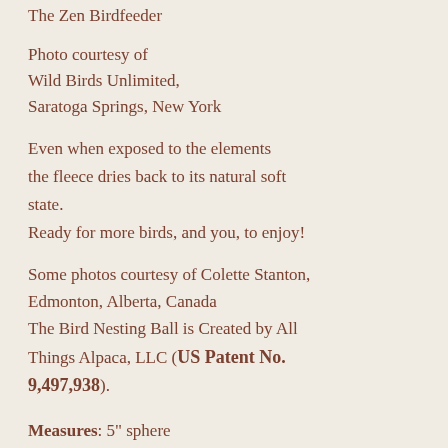The Zen Birdfeeder
Photo courtesy of
Wild Birds Unlimited,
Saratoga Springs, New York
Even when exposed to the elements the fleece dries back to its natural soft state.
Ready for more birds, and you, to enjoy!
Some photos courtesy of Colette Stanton, Edmonton, Alberta, Canada
The Bird Nesting Ball is Created by All Things Alpaca, LLC (US Patent No. 9,497,938).
Measures: 5" sphere